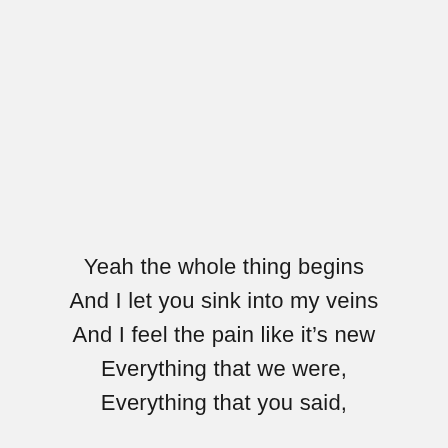Yeah the whole thing begins
And I let you sink into my veins
And I feel the pain like it’s new
Everything that we were,
Everything that you said,